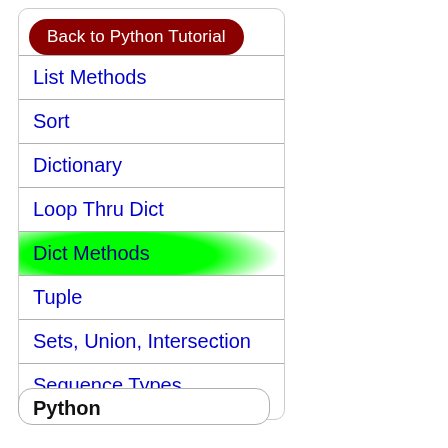Back to Python Tutorial
List Methods
Sort
Dictionary
Loop Thru Dict
Dict Methods
Tuple
Sets, Union, Intersection
Sequence Types
Python